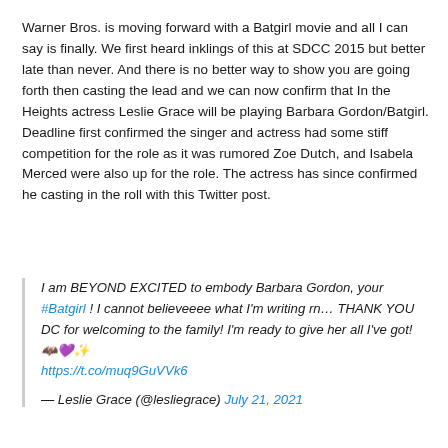Warner Bros. is moving forward with a Batgirl movie and all I can say is finally. We first heard inklings of this at SDCC 2015 but better late than never. And there is no better way to show you are going forth then casting the lead and we can now confirm that In the Heights actress Leslie Grace will be playing Barbara Gordon/Batgirl. Deadline first confirmed the singer and actress had some stiff competition for the role as it was rumored Zoe Dutch, and Isabela Merced were also up for the role. The actress has since confirmed he casting in the roll with this Twitter post.
I am BEYOND EXCITED to embody Barbara Gordon, your #Batgirl ! I cannot believeeee what I'm writing rn… THANK YOU DC for welcoming to the family! I'm ready to give her all I've got! 🦇💜✨ https://t.co/muq9GuVVk6
— Leslie Grace (@lesliegrace) July 21, 2021